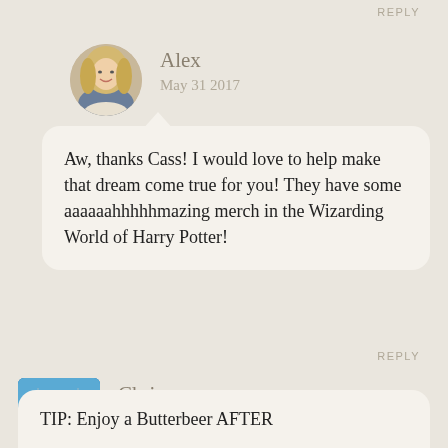REPLY
Alex
May 31 2017
Aw, thanks Cass! I would love to help make that dream come true for you! They have some aaaaaahhhhhmazing merch in the Wizarding World of Harry Potter!
REPLY
[Figure (photo): Circular avatar photo of a blonde woman smiling]
Chris
May 26 2017
[Figure (photo): Square avatar photo of two people outdoors near water]
TIP: Enjoy a Butterbeer AFTER